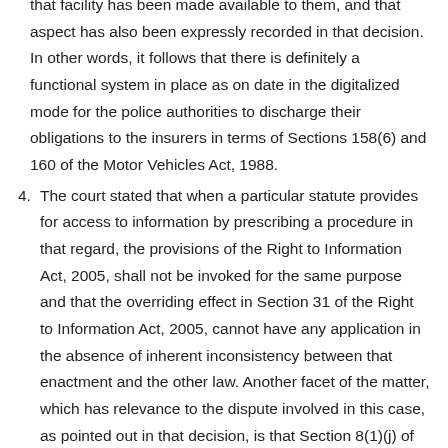that facility has been made available to them, and that aspect has also been expressly recorded in that decision. In other words, it follows that there is definitely a functional system in place as on date in the digitalized mode for the police authorities to discharge their obligations to the insurers in terms of Sections 158(6) and 160 of the Motor Vehicles Act, 1988.
4. The court stated that when a particular statute provides for access to information by prescribing a procedure in that regard, the provisions of the Right to Information Act, 2005, shall not be invoked for the same purpose and that the overriding effect in Section 31 of the Right to Information Act, 2005, cannot have any application in the absence of inherent inconsistency between that enactment and the other law. Another facet of the matter, which has relevance to the dispute involved in this case, as pointed out in that decision, is that Section 8(1)(j) of the Right to Information Act, 2005, excludes disclosure of personal information which (i) has no relationship to